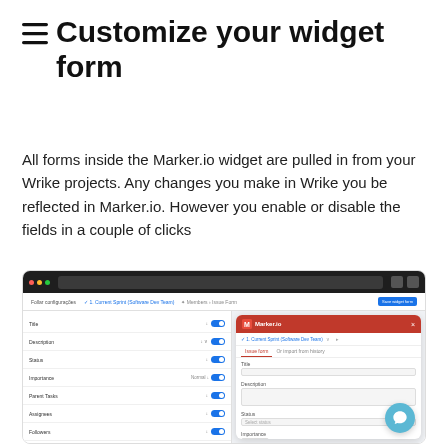≡ Customize your widget form
All forms inside the Marker.io widget are pulled in from your Wrike projects. Any changes you make in Wrike you be reflected in Marker.io. However you enable or disable the fields in a couple of clicks
[Figure (screenshot): Screenshot of the Marker.io widget customization interface in a browser, showing a left panel with form fields (Title, Description, Status, Importance, Parent Tasks, Assignees, Followers, Priority, Story Points, Release Type, Work Type, Product Area) with toggles, and a right panel showing a Marker.io widget preview with a red header, project selector, tabs, and form fields including Title, Description, Status, Importance, Assignees, Priority, Story Points.]